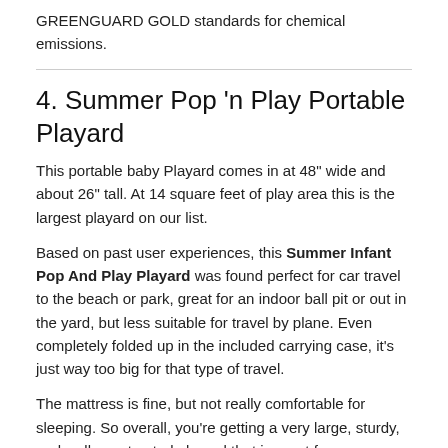GREENGUARD GOLD standards for chemical emissions.
4. Summer Pop 'n Play Portable Playard
This portable baby Playard comes in at 48" wide and about 26" tall. At 14 square feet of play area this is the largest playard on our list.
Based on past user experiences, this Summer Infant Pop And Play Playard was found perfect for car travel to the beach or park, great for an indoor ball pit or out in the yard, but less suitable for travel by plane. Even completely folded up in the included carrying case, it's just way too big for that type of travel.
The mattress is fine, but not really comfortable for sleeping. So overall, you're getting a very large, sturdy, and well-constructed playard that is great for some particular uses.